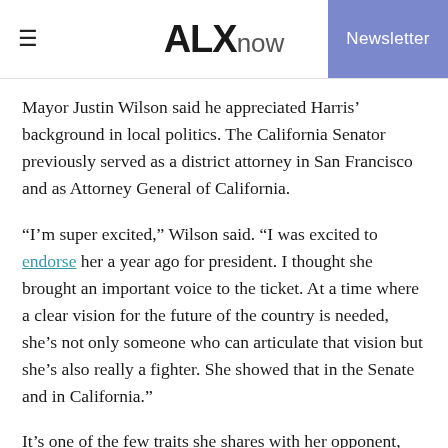ALXnow | Newsletter
Mayor Justin Wilson said he appreciated Harris’ background in local politics. The California Senator previously served as a district attorney in San Francisco and as Attorney General of California.
“I’m super excited,” Wilson said. “I was excited to endorse her a year ago for president. I thought she brought an important voice to the ticket. At a time where a clear vision for the future of the country is needed, she’s not only someone who can articulate that vision but she’s also really a fighter. She showed that in the Senate and in California.”
It’s one of the few traits she shares with her opponent, Vice President Mike Pence, who was a Congressman from 2001 to 2013 and then governor of Indiana from